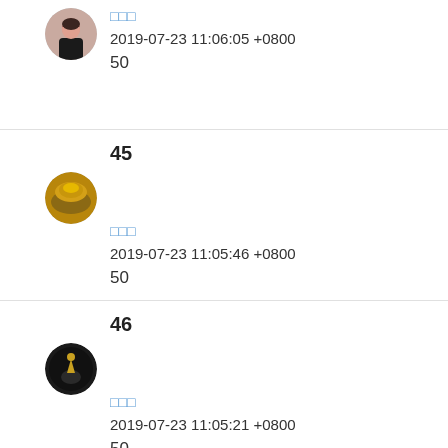[Figure (photo): User avatar: woman photo, circular]
□□□
2019-07-23 11:06:05 +0800
50
45
[Figure (photo): User avatar: golden/yellow landscape, circular]
□□□
2019-07-23 11:05:46 +0800
50
46
[Figure (photo): User avatar: dark background with figure silhouette, circular]
□□□
2019-07-23 11:05:21 +0800
50